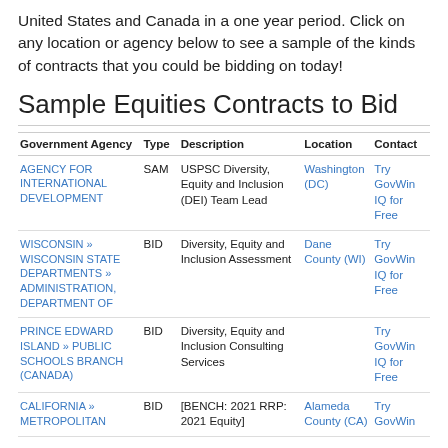United States and Canada in a one year period. Click on any location or agency below to see a sample of the kinds of contracts that you could be bidding on today!
Sample Equities Contracts to Bid
| Government Agency | Type | Description | Location | Contact |
| --- | --- | --- | --- | --- |
| AGENCY FOR INTERNATIONAL DEVELOPMENT | SAM | USPSC Diversity, Equity and Inclusion (DEI) Team Lead | Washington (DC) | Try GovWin IQ for Free |
| WISCONSIN » WISCONSIN STATE DEPARTMENTS » ADMINISTRATION, DEPARTMENT OF | BID | Diversity, Equity and Inclusion Assessment | Dane County (WI) | Try GovWin IQ for Free |
| PRINCE EDWARD ISLAND » PUBLIC SCHOOLS BRANCH (CANADA) | BID | Diversity, Equity and Inclusion Consulting Services |  | Try GovWin IQ for Free |
| CALIFORNIA » METROPOLITAN... | BID | [BENCH: 2021 RRP: 2021 Equity] | Alameda County (CA) | Try GovWin IQ for Free |